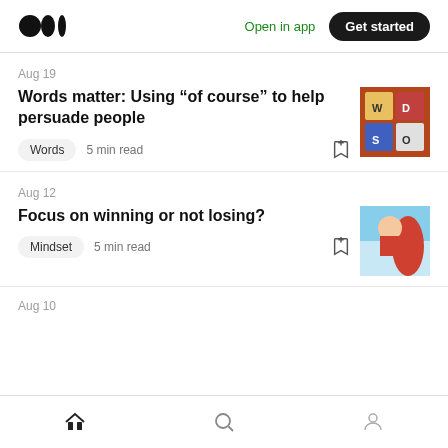Medium logo | Open in app | Get started
Aug 19
Words matter: Using “of course” to help persuade people
Words  5 min read
[Figure (photo): Thumbnail image of colorful word game tiles or cards on a wooden surface]
Aug 12
Focus on winning or not losing?
Mindset  5 min read
[Figure (photo): Thumbnail image of a person in red raising a fist against a blue sky]
Aug 10
Home | Search | Profile